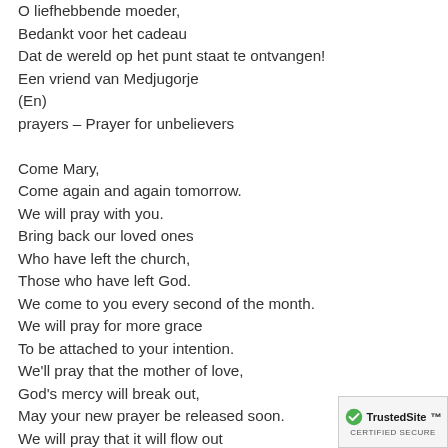O liefhebbende moeder,
Bedankt voor het cadeau
Dat de wereld op het punt staat te ontvangen!
Een vriend van Medjugorje
(En)
prayers – Prayer for unbelievers

Come Mary,
Come again and again tomorrow.
We will pray with you.
Bring back our loved ones
Who have left the church,
Those who have left God.
We come to you every second of the month.
We will pray for more grace
To be attached to your intention.
We'll pray that the mother of love,
God's mercy will break out,
May your new prayer be released soon.
We will pray that it will flow out
Like a river to all nations,
That as the rivers fill the oceans,
Your love for God will fill the earth.
[Figure (logo): TrustedSite certified badge with green checkmark]